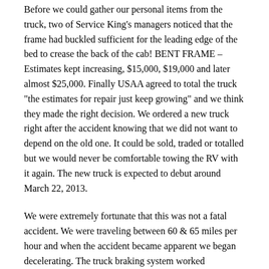Before we could gather our personal items from the truck, two of Service King's managers noticed that the frame had buckled sufficient for the leading edge of the bed to crease the back of the cab!  BENT FRAME – Estimates kept increasing, $15,000, $19,000 and later almost $25,000.  Finally USAA agreed to total the truck "the estimates for repair just keep growing" and we think they made the right decision.  We ordered a new truck right after the accident knowing that we did not want to depend on the old one.  It could be sold, traded or totalled but we would never be comfortable towing the RV with it again.  The new truck is expected to debut around March 22, 2013.
We were extremely fortunate that this was not a fatal accident.  We were traveling between 60 & 65 miles per hour and when the accident became apparent we began decelerating.  The truck braking system worked flawlessly.  Bless Henry Ford's engineers we stayed in our lane, no jack knife or turn over – amazing.
Once the new truck arrives and is checked out, the